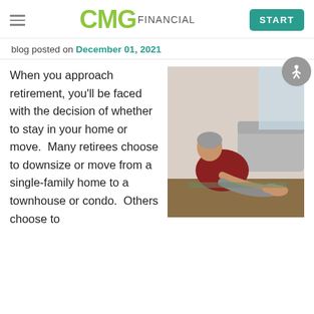CMG Financial — START
blog posted on December 01, 2021
[Figure (photo): An older woman with grey hair stretching on the floor, reaching forward to touch her feet, wearing a dark red top and grey pants, in a living room setting.]
When you approach retirement, you'll be faced with the decision of whether to stay in your home or move. Many retirees choose to downsize or move from a single-family home to a townhouse or condo. Others choose to